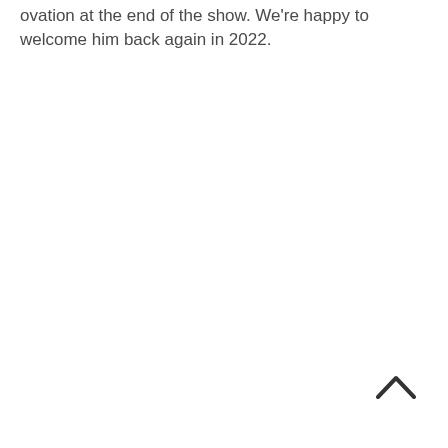ovation at the end of the show. We're happy to welcome him back again in 2022.
[Figure (other): Back to top chevron/arrow icon pointing upward, located in bottom-right corner]